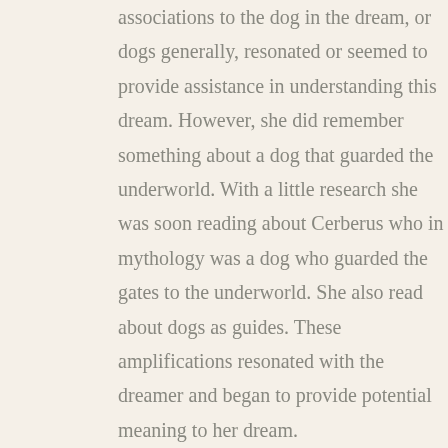associations to the dog in the dream, or dogs generally, resonated or seemed to provide assistance in understanding this dream. However, she did remember something about a dog that guarded the underworld. With a little research she was soon reading about Cerberus who in mythology was a dog who guarded the gates to the underworld. She also read about dogs as guides. These amplifications resonated with the dreamer and began to provide potential meaning to her dream.

If the meaning of the symbol was not clear after looking at personal associations, then further amplification may be helpful. This amplification